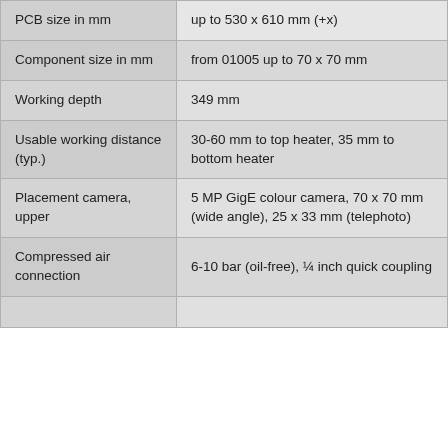| Parameter | Value |
| --- | --- |
| PCB size in mm | up to 530 x 610 mm (+x) |
| Component size in mm | from 01005 up to 70 x 70 mm |
| Working depth | 349 mm |
| Usable working distance (typ.) | 30-60 mm to top heater, 35 mm to bottom heater |
| Placement camera, upper | 5 MP GigE colour camera, 70 x 70 mm (wide angle), 25 x 33 mm (telephoto) |
| Compressed air connection | 6-10 bar (oil-free), ¼ inch quick coupling |
|  |  |